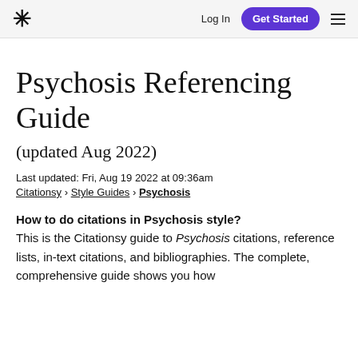* Log In  Get Started  ≡
Psychosis Referencing Guide
(updated Aug 2022)
Last updated: Fri, Aug 19 2022 at 09:36am
Citationsy › Style Guides › Psychosis
How to do citations in Psychosis style?
This is the Citationsy guide to Psychosis citations, reference lists, in-text citations, and bibliographies. The complete, comprehensive guide shows you how